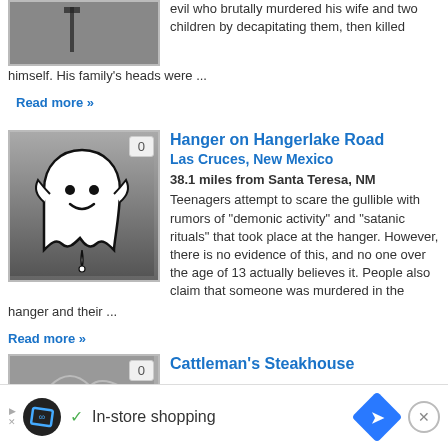evil who brutally murdered his wife and two children by decapitating them, then killed himself. His family's heads were ...
Read more »
[Figure (illustration): Ghost cartoon illustration on gray background with count badge showing 0]
Hanger on Hangerlake Road
Las Cruces, New Mexico
38.1 miles from Santa Teresa, NM
Teenagers attempt to scare the gullible with rumors of "demonic activity" and "satanic rituals" that took place at the hanger. However there is no evidence of this, and no one over the age of 13 actually believes it. People also claim that someone was murdered in the hanger and their ...
Read more »
Cattleman's Steakhouse
[Figure (photo): Partial photo visible at bottom]
In-store shopping